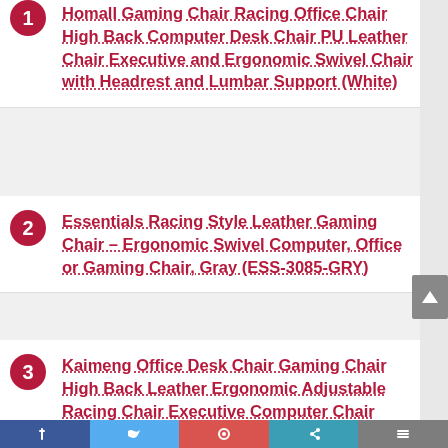Homall Gaming Chair Racing Office Chair High Back Computer Desk Chair PU Leather Chair Executive and Ergonomic Swivel Chair with Headrest and Lumbar Support (White)
Essentials Racing Style Leather Gaming Chair – Ergonomic Swivel Computer, Office or Gaming Chair, Gray (ESS-3085-GRY)
Kaimeng Office Desk Chair Gaming Chair High Back Leather Ergonomic Adjustable Racing Chair Executive Computer Chair (Red)
Homall Gaming Office Chair Computer Chair High Back Racing Desk Chair PU Leather